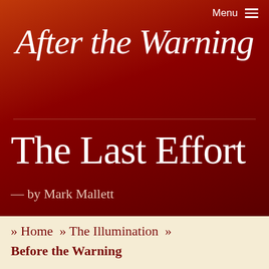Menu ≡
After the Warning
The Last Effort
— by Mark Mallett
» Home » The Illumination » Before the Warning